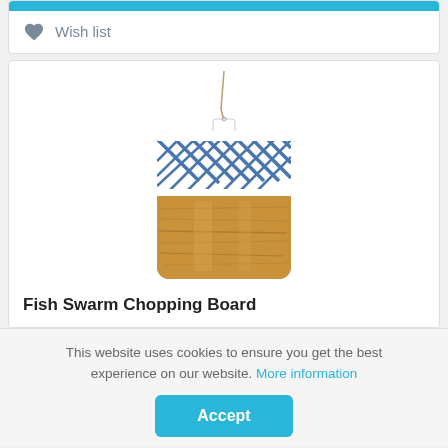[Figure (other): Blue top bar of a product card]
Wish list
[Figure (photo): Fish Swarm Chopping Board product image - a wooden chopping board with white enamel top section featuring blue fish/wave pattern, with a hanging twine tag]
Fish Swarm Chopping Board
This website uses cookies to ensure you get the best experience on our website. More information
Accept